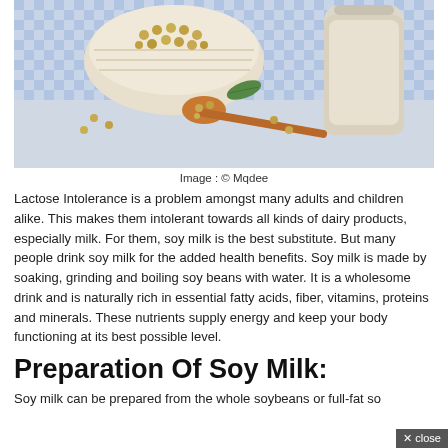[Figure (photo): Photo of soybeans in a white wicker bowl and on a wooden spoon, alongside a glass bottle of soy milk, on a blue and white checkered cloth background.]
Image : © Mqdee
Lactose Intolerance is a problem amongst many adults and children alike. This makes them intolerant towards all kinds of dairy products, especially milk. For them, soy milk is the best substitute. But many people drink soy milk for the added health benefits. Soy milk is made by soaking, grinding and boiling soy beans with water. It is a wholesome drink and is naturally rich in essential fatty acids, fiber, vitamins, proteins and minerals. These nutrients supply energy and keep your body functioning at its best possible level.
Preparation Of Soy Milk:
Soy milk can be prepared from the whole soybeans or full-fat soy